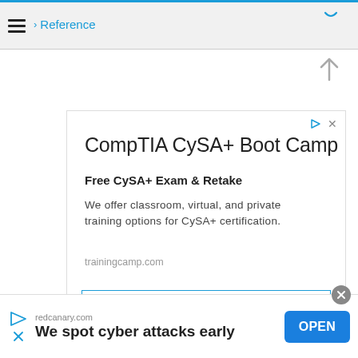Reference
[Figure (screenshot): Navigation breadcrumb bar with hamburger menu and Reference link]
[Figure (infographic): Advertisement for CompTIA CySA+ Boot Camp by trainingcamp.com with OPEN button]
[Figure (infographic): Bottom banner advertisement for redcanary.com - We spot cyber attacks early - with OPEN button]